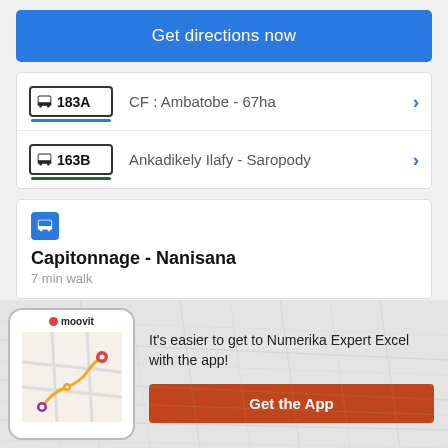Get directions now
183A  CF : Ambatobe - 67ha
163B  Ankadikely Ilafy - Saropody
Capitonnage - Nanisana
7 min walk
[Figure (screenshot): Moovit app screenshot showing a route map with orange path and location pins]
It's easier to get to Numerika Expert Excel with the app!
Get the App